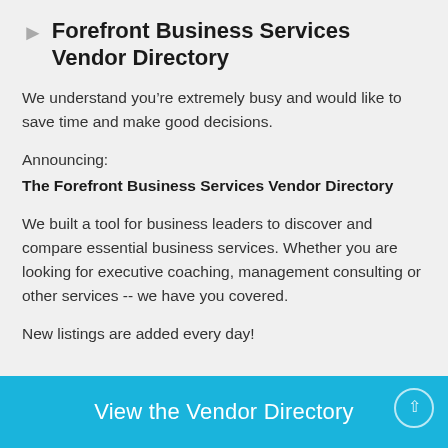Forefront Business Services Vendor Directory
We understand you’re extremely busy and would like to save time and make good decisions.
Announcing:
The Forefront Business Services Vendor Directory
We built a tool for business leaders to discover and compare essential business services. Whether you are looking for executive coaching, management consulting or other services -- we have you covered.
New listings are added every day!
View the Vendor Directory